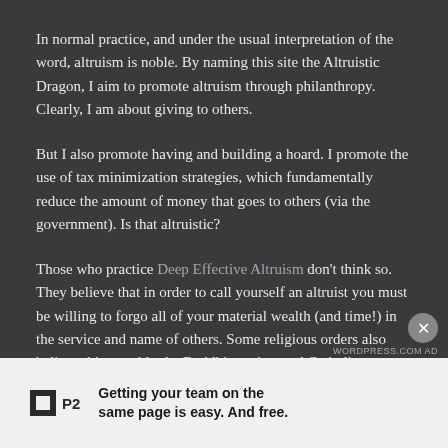In normal practice, and under the usual interpretation of the word, altruism is noble. By naming this site the Altruistic Dragon, I aim to promote altruism through philanthropy. Clearly, I am about giving to others.
But I also promote having and building a hoard. I promote the use of tax minimization strategies, which fundamentally reduce the amount of money that goes to others (via the government). Is that altruistic?
Those who practice Deep Effective Altruism don't think so. They believe that in order to call yourself an altruist you must be willing to forgo all of your material wealth (and time!) in the service and name of others. Some religious orders also believe this, notably the Buddhist orders and Catholic monastic...
Getting your team on the same page is easy. And free.